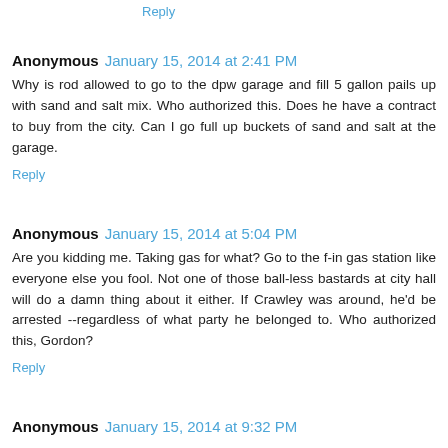Reply
Anonymous  January 15, 2014 at 2:41 PM
Why is rod allowed to go to the dpw garage and fill 5 gallon pails up with sand and salt mix. Who authorized this. Does he have a contract to buy from the city. Can I go full up buckets of sand and salt at the garage.
Reply
Anonymous  January 15, 2014 at 5:04 PM
Are you kidding me. Taking gas for what? Go to the f-in gas station like everyone else you fool. Not one of those ball-less bastards at city hall will do a damn thing about it either. If Crawley was around, he'd be arrested --regardless of what party he belonged to. Who authorized this, Gordon?
Reply
Anonymous  January 15, 2014 at 9:32 PM